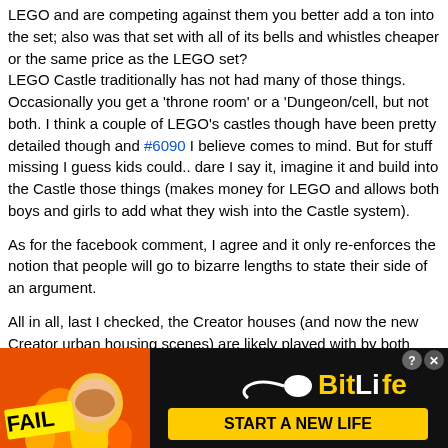LEGO and are competing against them you better add a ton into the set; also was that set with all of its bells and whistles cheaper or the same price as the LEGO set?
LEGO Castle traditionally has not had many of those things. Occasionally you get a 'throne room' or a 'Dungeon/cell, but not both. I think a couple of LEGO's castles though have been pretty detailed though and #6090 I believe comes to mind. But for stuff missing I guess kids could.. dare I say it, imagine it and build into the Castle those things (makes money for LEGO and allows both boys and girls to add what they wish into the Castle system).

As for the facebook comment, I agree and it only re-enforces the notion that people will go to bizarre lengths to state their side of an argument.

All in all, last I checked, the Creator houses (and now the new Creator urban housing scenes) are likely played with by both boys and girls. These are essentially 'homemaker sets'. There are no swat team members raiding the meth house with bad guys in it, nor is the house on fire, nor are aliens trying to destroy it. It is just a house. Would be interesting to see the demographics
[Figure (screenshot): BitLife advertisement banner with FAIL text on left side showing animated character and fire, and BitLife logo with 'START A NEW LIFE' button on black background on right side. Has close (X) and help (?) buttons.]